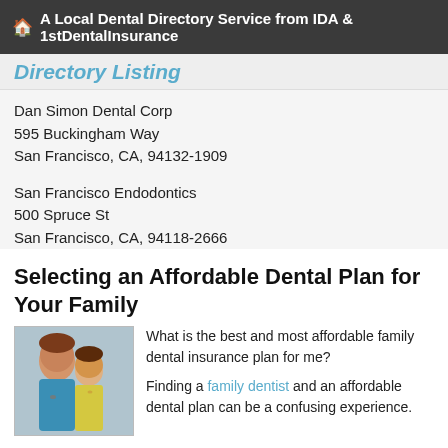🏠 A Local Dental Directory Service from IDA & 1stDentalInsurance
Directory Listing
Dan Simon Dental Corp
595 Buckingham Way
San Francisco, CA, 94132-1909
San Francisco Endodontics
500 Spruce St
San Francisco, CA, 94118-2666
Selecting an Affordable Dental Plan for Your Family
[Figure (photo): Photo of a mother and young daughter smiling together]
What is the best and most affordable family dental insurance plan for me?

Finding a family dentist and an affordable dental plan can be a confusing experience. Although there is no one "best" affordable dental plan, there are some plans that will... read more
Choosing Dental Plans: Why A Dental Health